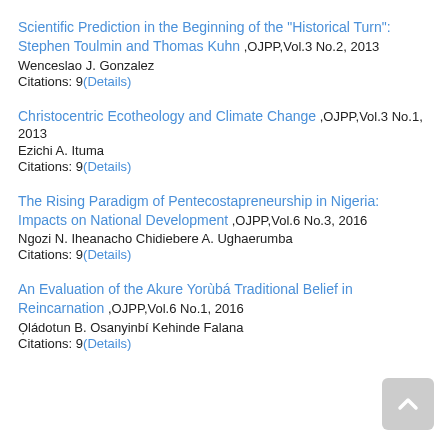Scientific Prediction in the Beginning of the “Historical Turn”: Stephen Toulmin and Thomas Kuhn ,OJPP,Vol.3 No.2, 2013
Wenceslao J. Gonzalez
Citations: 9(Details)
Christocentric Ecotheology and Climate Change ,OJPP,Vol.3 No.1, 2013
Ezichi A. Ituma
Citations: 9(Details)
The Rising Paradigm of Pentecostapreneurship in Nigeria: Impacts on National Development ,OJPP,Vol.6 No.3, 2016
Ngozi N. Iheanacho Chidiebere A. Ughaerumba
Citations: 9(Details)
An Evaluation of the Akure Yorùbá Traditional Belief in Reincarnation ,OJPP,Vol.6 No.1, 2016
Oọládotun B. Osanyinbí Kehinde Falana
Citations: 9(Details)